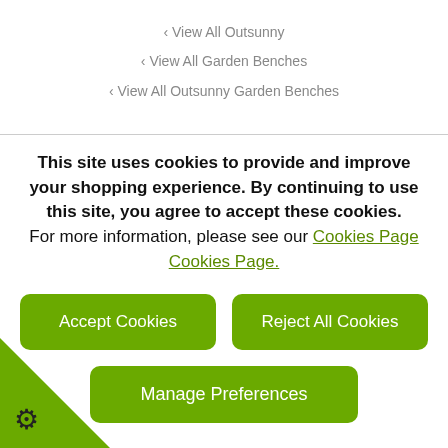‹ View All Outsunny
‹ View All Garden Benches
‹ View All Outsunny Garden Benches
This site uses cookies to provide and improve your shopping experience. By continuing to use this site, you agree to accept these cookies. For more information, please see our Cookies Page Cookies Page.
Accept Cookies
Reject All Cookies
Manage Preferences